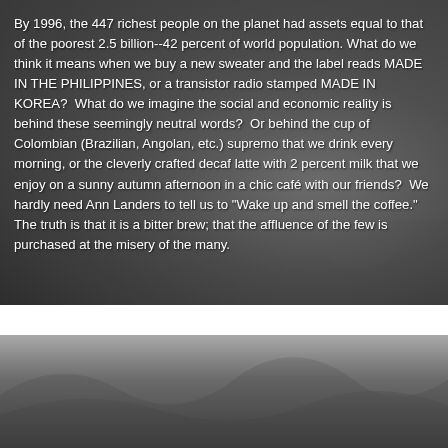[Figure (photo): Black and white photograph with overlaid white text, showing a scene with people in the background, dark and grainy image]
By 1996, the 447 richest people on the planet had assets equal to that of the poorest 2.5 billion--42 percent of world population. What do we think it means when we buy a new sweater and the label reads MADE IN THE PHILIPPINES, or a transistor radio stamped MADE IN KOREA?  What do we imagine the social and economic reality is behind these seemingly neutral words?  Or behind the cup of Colombian (Brazilian, Angolan, etc.) supremo that we drink every morning, or the cleverly crafted decaf latte with 2 percent milk that we enjoy on a sunny autumn afternoon in a chic café with our friends?  We hardly need Ann Landers to tell us to "Wake up and smell the coffee."  The truth is that it is a bitter brew; that the affluence of the few is purchased at the misery of the many.
[Figure (photo): Black and white photograph showing a landscape with hills or mounds, dark grainy image]